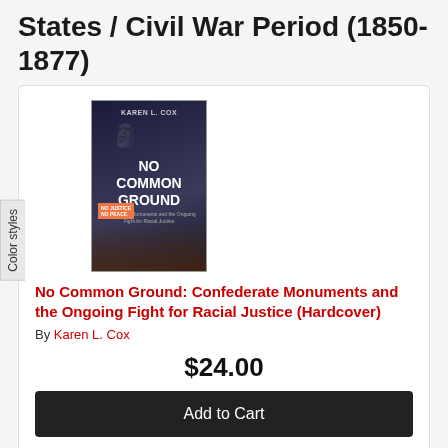States / Civil War Period (1850-1877)
[Figure (photo): Book cover of 'No Common Ground' by Karen L. Cox, showing a dark nighttime protest scene with a monument and BLM imagery]
No Common Ground: Confederate Monuments and the Ongoing Fight for Racial Justice (Hardcover)
By Karen L. Cox
$24.00
Add to Cart
Usually Ships in 1-5 Days
[Figure (photo): Black and white portrait photograph of a man, partially visible at bottom of page]